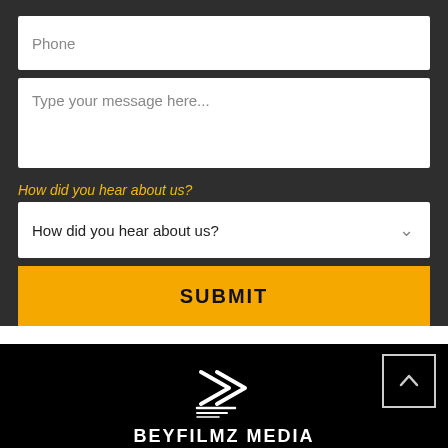[Figure (screenshot): Phone input field with placeholder text 'Phone']
[Figure (screenshot): Message textarea with placeholder text 'Type your message here...']
How did you hear about us?
[Figure (screenshot): Dropdown selector with label 'How did you hear about us?' and chevron arrow]
SUBMIT
[Figure (logo): Beyfilmz Media logo with play button arrow icon]
BEYFILMZ MEDIA
PRODUCTION COMPANY
9456 State Rd Suite 11 - V485